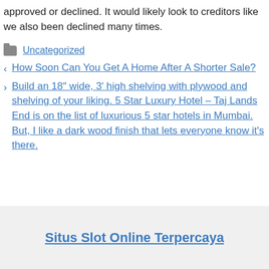approved or declined. It would likely look to creditors like we also been declined many times.
Uncategorized
‹ How Soon Can You Get A Home After A Shorter Sale?
› Build an 18″ wide, 3′ high shelving with plywood and shelving of your liking. 5 Star Luxury Hotel – Taj Lands End is on the list of luxurious 5 star hotels in Mumbai. But, I like a dark wood finish that lets everyone know it's there.
Situs Slot Online Terpercaya